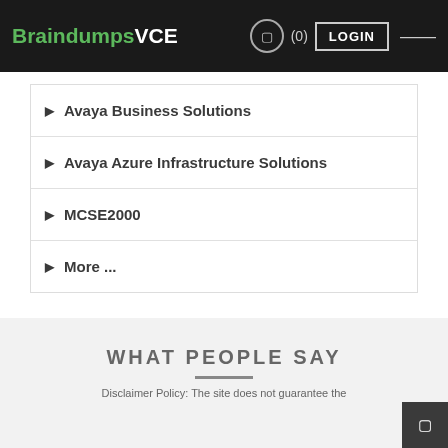BraindumpsVCE (0) LOGIN
Avaya Business Solutions
Avaya Azure Infrastructure Solutions
MCSE2000
More ...
WHAT PEOPLE SAY
Disclaimer Policy: The site does not guarantee the